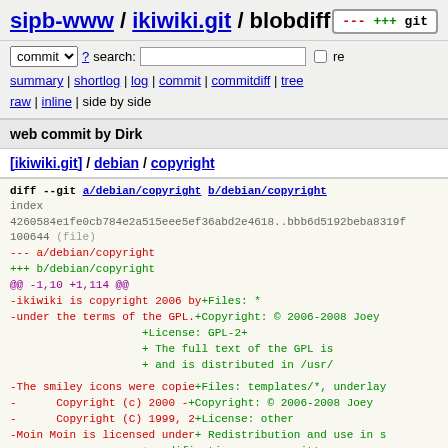sipb-www / ikiwiki.git / blobdiff
commit ? search: re
summary | shortlog | log | commit | commitdiff | tree
raw | inline | side by side
web commit by Dirk
[ikiwiki.git] / debian / copyright
[Figure (screenshot): Git diff output showing diff --git a/debian/copyright b/debian/copyright with index hash, file mode, --- a/debian/copyright, +++ b/debian/copyright, @@ -1,10 +1,114 @@, and diff lines showing removed and added copyright text]